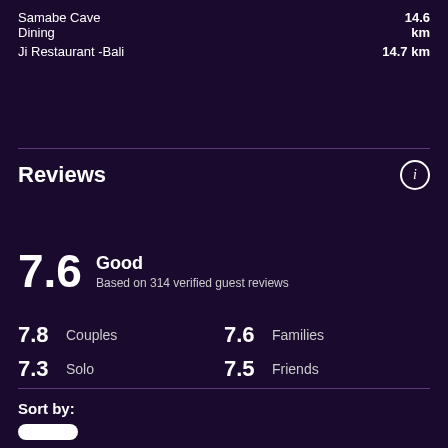Samabe Cave Dining  14.6 km
Ji Restaurant -Bali  14.7 km
Reviews
7.6  Good  Based on 314 verified guest reviews
| Score | Category |
| --- | --- |
| 7.8 | Couples |
| 7.6 | Families |
| 7.3 | Solo |
| 7.5 | Friends |
Sort by: